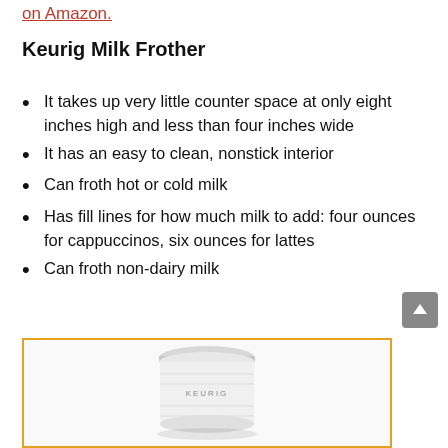on Amazon.
Keurig Milk Frother
It takes up very little counter space at only eight inches high and less than four inches wide
It has an easy to clean, nonstick interior
Can froth hot or cold milk
Has fill lines for how much milk to add: four ounces for cappuccinos, six ounces for lattes
Can froth non-dairy milk
[Figure (photo): Product photo of a Keurig milk frother — a compact white cylindrical device with a silver lid, labeled KEURIG on the body.]